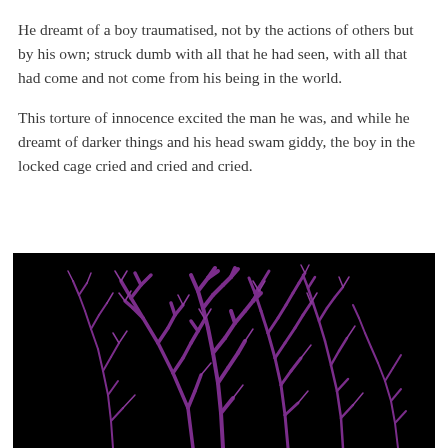He dreamt of a boy traumatised, not by the actions of others but by his own; struck dumb with all that he had seen, with all that had come and not come from his being in the world.
This torture of innocence excited the man he was, and while he dreamt of darker things and his head swam giddy, the boy in the locked cage cried and cried and cried.
[Figure (illustration): Dark black background with purple branching tree-like or vein-like structures growing upward from the bottom of the image, resembling bare winter trees or neuronal dendrites rendered in purple against pure black.]